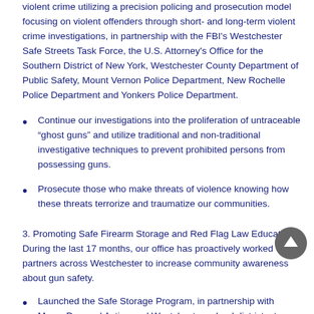violent crime utilizing a precision policing and prosecution model focusing on violent offenders through short- and long-term violent crime investigations, in partnership with the FBI's Westchester Safe Streets Task Force, the U.S. Attorney's Office for the Southern District of New York, Westchester County Department of Public Safety, Mount Vernon Police Department, New Rochelle Police Department and Yonkers Police Department.
Continue our investigations into the proliferation of untraceable “ghost guns” and utilize traditional and non-traditional investigative techniques to prevent prohibited persons from possessing guns.
Prosecute those who make threats of violence knowing how these threats terrorize and traumatize our communities.
3. Promoting Safe Firearm Storage and Red Flag Law Education: During the last 17 months, our office has proactively worked with partners across Westchester to increase community awareness about gun safety.
Launched the Safe Storage Program, in partnership with Moms Demand Action and Westchester school districts, to help reduce the risk of school shootings and gun suicides among young people. The